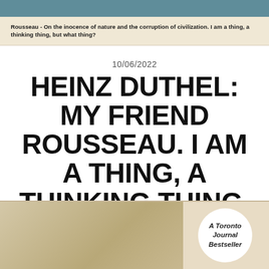Rousseau - On the inocence of nature and the corruption of civilization. I am a thing, a thinking thing, but what thing?
10/06/2022
HEINZ DUTHEL: MY FRIEND ROUSSEAU. I AM A THING, A THINKING THING, BUT WHAT THING?
[Figure (illustration): Bottom portion of a book cover with a beige/tan gradient background and a white circle badge on the right side reading 'A Toronto Journal Bestseller']